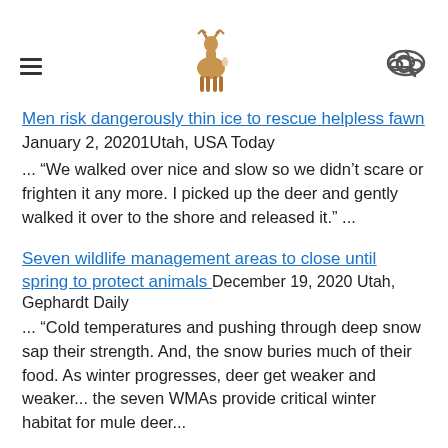≡ [deer logo] [search icon]
Men risk dangerously thin ice to rescue helpless fawn
January 2, 20201Utah, USA Today
... “We walked over nice and slow so we didn’t scare or frighten it any more. I picked up the deer and gently walked it over to the shore and released it.” ...
Seven wildlife management areas to close until spring to protect animals December 19, 2020 Utah, Gephardt Daily
...  “Cold temperatures and pushing through deep snow sap their strength. And, the snow buries much of their food. As winter progresses, deer get weaker and weaker...  the seven WMAs provide critical winter habitat for mule deer...
Six new wildlife crossings constructed in Utah this past